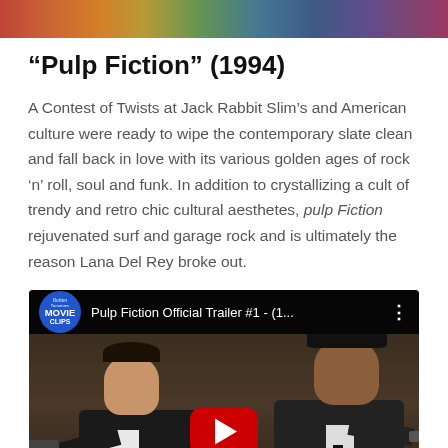[Figure (photo): Cropped top portion of a colorful image, partially visible at the top of the page]
“Pulp Fiction” (1994)
A Contest of Twists at Jack Rabbit Slim’s and American culture were ready to wipe the contemporary slate clean and fall back in love with its various golden ages of rock ‘n’ roll, soul and funk. In addition to crystallizing a cult of trendy and retro chic cultural aesthetes, pulp Fiction rejuvenated surf and garage rock and is ultimately the reason Lana Del Rey broke out.
[Figure (screenshot): YouTube video embed showing 'Pulp Fiction Official Trailer #1 - (1...' with two men in black suits holding guns, a red YouTube play button in the center, HD badge in the lower left, and the Rotten Tomatoes Movie Clips channel logo.]